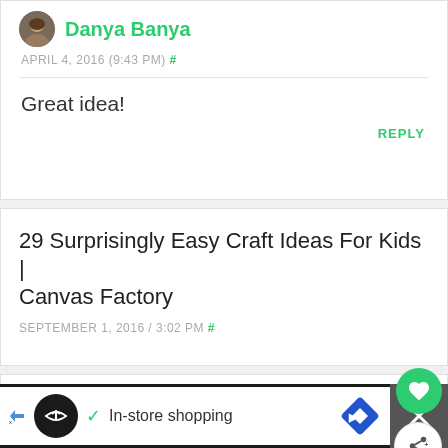Danya Banya
APRIL 4, 2016 (9:43 PM) #
Great idea!
REPLY
29 Surprisingly Easy Craft Ideas For Kids | Canvas Factory
SEPTEMBER 1, 2016 / 3:02 PM #
50 Toilet Paper Roll Crafts For Kids - All Time List
In-store shopping